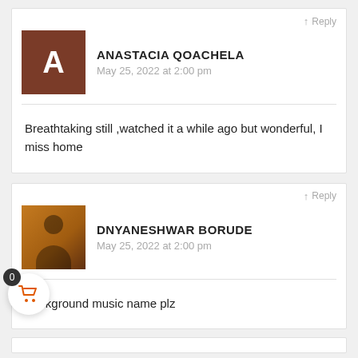↑ Reply
ANASTACIA QOACHELA
May 25, 2022 at 2:00 pm
Breathtaking still ,watched it a while ago but wonderful, I miss home
↑ Reply
DNYANESHWAR BORUDE
May 25, 2022 at 2:00 pm
Background music name plz